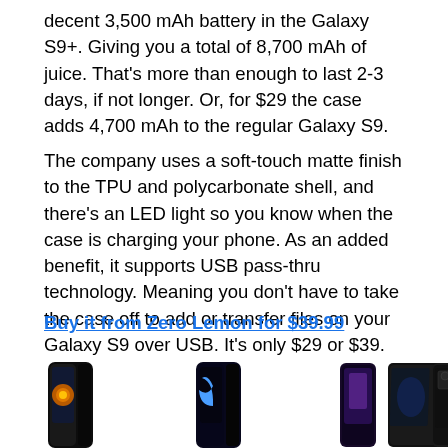decent 3,500 mAh battery in the Galaxy S9+. Giving you a total of 8,700 mAh of juice. That's more than enough to last 2-3 days, if not longer. Or, for $29 the case adds 4,700 mAh to the regular Galaxy S9.
The company uses a soft-touch matte finish to the TPU and polycarbonate shell, and there's an LED light so you know when the case is charging your phone. As an added benefit, it supports USB pass-thru technology. Meaning you don't have to take the case off to add or transfer files on your Galaxy S9 over USB. It's only $29 or $39.
Buy it from Zero Lemon for $39.99
Or get the Galaxy S9 battery case on Amazon for $29
[Figure (photo): A row of five Galaxy S9 battery case product images showing the phone from various angles with the battery case attached, including views showing the screen with app icons, a blue crescent moon wallpaper, a purple-toned screen, a tilted view, and a rear glass view.]